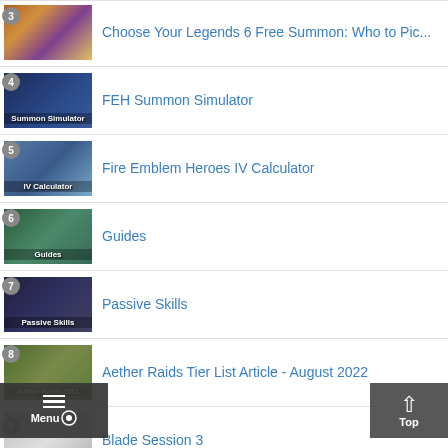Choose Your Legends 6 Free Summon: Who to Pic...
4 FEH Summon Simulator
5 Fire Emblem Heroes IV Calculator
6 Guides
7 Passive Skills
8 Aether Raids Tier List Article - August 2022
9 Blade Session 3